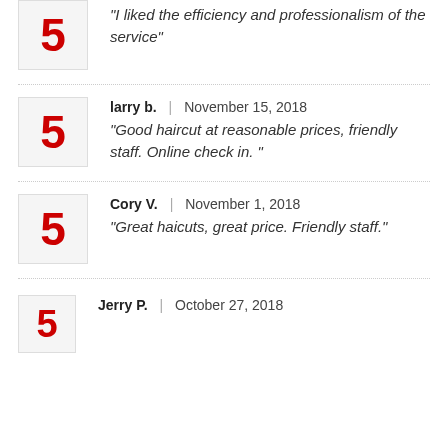5 | "I liked the efficiency and professionalism of the service"
5 | larry b. | November 15, 2018 | "Good haircut at reasonable prices, friendly staff. Online check in. "
5 | Cory V. | November 1, 2018 | "Great haicuts, great price. Friendly staff."
5 | Jerry P. | October 27, 2018